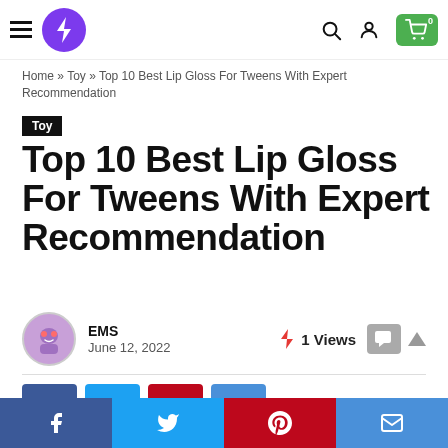Navigation bar with hamburger menu, purple lightning bolt logo, search icon, user icon, and green shopping cart with 0 items
Home » Toy » Top 10 Best Lip Gloss For Tweens With Expert Recommendation
Toy
Top 10 Best Lip Gloss For Tweens With Expert Recommendation
EMS
June 12, 2022
⚡ 1 Views
Share buttons: Facebook, Twitter, Pinterest, Email
Bottom share bar: Facebook, Twitter, Pinterest, Email